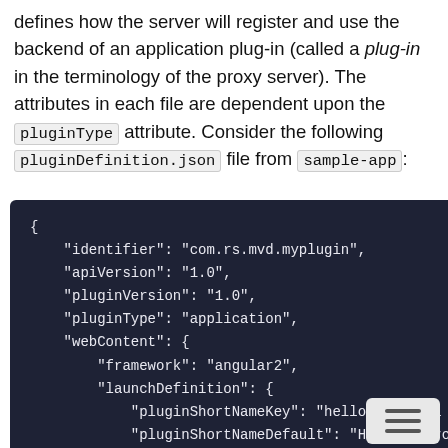defines how the server will register and use the backend of an application plug-in (called a plug-in in the terminology of the proxy server). The attributes in each file are dependent upon the pluginType attribute. Consider the following pluginDefinition.json file from sample-app:
[Figure (screenshot): Dark-themed code block showing a JSON object with fields: identifier, apiVersion, pluginVersion, pluginType, webContent containing framework and launchDefinition with pluginShortNameKey, pluginShortNameDefault, imageSrc fields. A hamburger menu icon overlaps the bottom-right corner.]